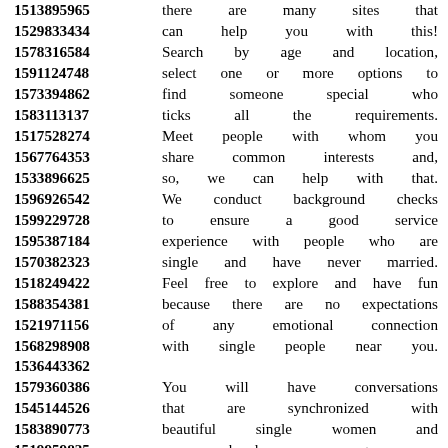1513895965 there are many sites that
1529833434 can help you with this!
1578316584 Search by age and location,
1591124748 select one or more options to
1573394862 find someone special who
1583113137 ticks all the requirements.
1517528274 Meet people with whom you
1567764353 share common interests and,
1533896625 so, we can help with that.
1596926542 We conduct background checks
1599229728 to ensure a good service
1595387184 experience with people who are
1570382323 single and have never married.
1518249422 Feel free to explore and have fun
1588354381 because there are no expectations
1521971156 of any emotional connection
1568298908 with single people near you.
1536443362
1579360386 You will have conversations
1545144526 that are synchronized with
1583890773 beautiful single women and
1519959835 very handsome young men.
1564601189 We make it super easy for you
1538669554 to find other singles in your area.
1579393653 New issues and articles